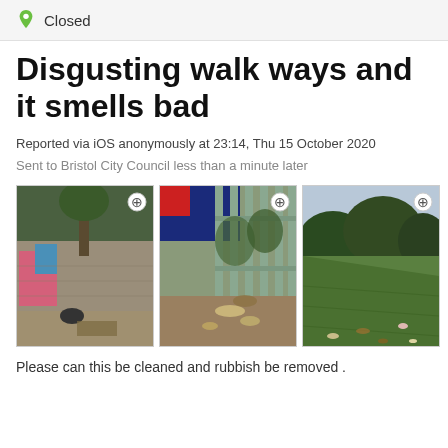Closed
Disgusting walk ways and it smells bad
Reported via iOS anonymously at 23:14, Thu 15 October 2020
Sent to Bristol City Council less than a minute later
[Figure (photo): Three photos of disgusting walkways with graffiti, litter, and overgrown vegetation]
Please can this be cleaned and rubbish be removed .